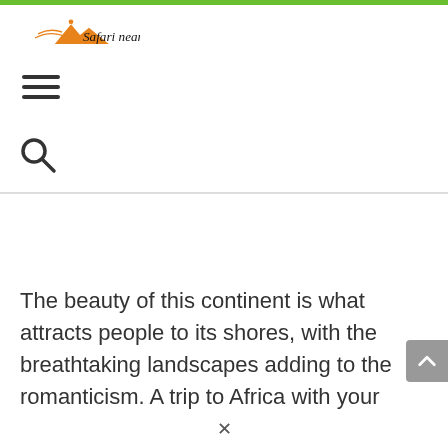Safari near
[Figure (logo): Safari near logo with orange mountain/safari silhouette graphic and handwritten-style text 'Safari near']
The beauty of this continent is what attracts people to its shores, with the breathtaking landscapes adding to the romanticism. A trip to Africa with your